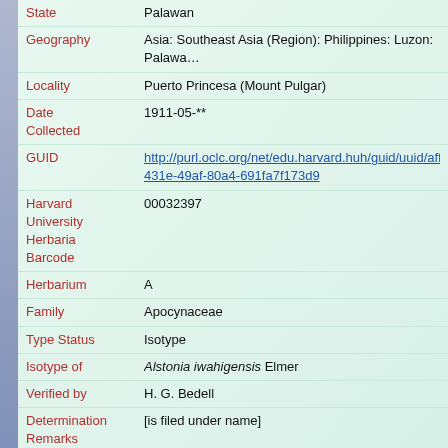| Field | Value |
| --- | --- |
| State | Palawan |
| Geography | Asia: Southeast Asia (Region): Philippines: Luzon: Palawa… |
| Locality | Puerto Princesa (Mount Pulgar) |
| Date Collected | 1911-05-** |
| GUID | http://purl.oclc.org/net/edu.harvard.huh/guid/uuid/affo…431e-49af-80a4-691fa7f173d9 |
| Harvard University Herbaria Barcode | 00032397 |
| Herbarium | A |
| Family | Apocynaceae |
| Type Status | Isotype |
| Isotype of | Alstonia iwahigensis Elmer |
| Verified by | H. G. Bedell |
| Determination Remarks | [is filed under name] |
| Taxon Reference | (for Alstonia iwahigensis Elmer) Leafl. Philipp. Bot. 1 4: 1447. |
| Sex | not determined |
| Phenology | Flower |